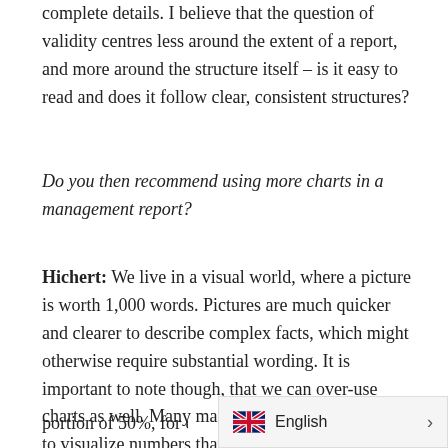complete details. I believe that the question of validity centres less around the extent of a report, and more around the structure itself – is it easy to read and does it follow clear, consistent structures?
Do you then recommend using more charts in a management report?
Hichert: We live in a visual world, where a picture is worth 1,000 words. Pictures are much quicker and clearer to describe complex facts, which might otherwise require substantial wording. It is important to note though, that we can over-use charts as well. Many management reports use charts to visualize numbers that could easily be described in two brief sentences or less. If I want to re[port a] portion of 50%, for example, I ca[n…]